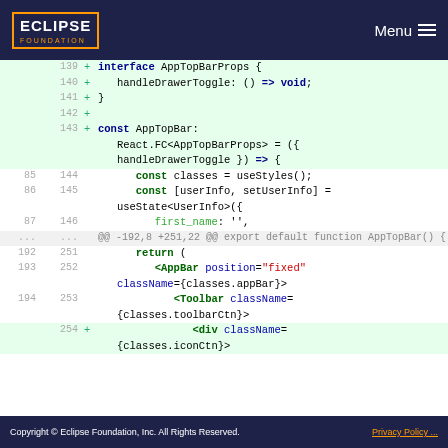ECLIPSE FOUNDATION  Menu
[Figure (screenshot): Code diff viewer showing TypeScript/React code changes with line numbers, added lines highlighted in green]
Copyright © Eclipse Foundation, Inc. All Rights Reserved.  Privacy Policy ...